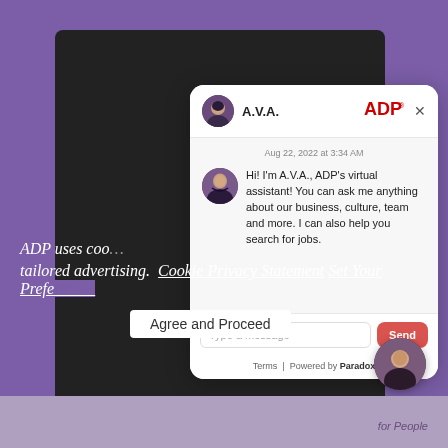[Figure (screenshot): ADP chatbot interface showing A.V.A. virtual assistant chat popup with message, input field, and cookie consent bar on purple background]
Aug 22, 2022 at 3:34 AM
Hi! I'm A.V.A., ADP's virtual assistant! You can ask me anything about our business, culture, team and more. I can also help you search for jobs.
Type a message
Send
Terms | Powered by Paradox
ADP uses coo...
tailored advertising.  Cookie Privacy Statement  Set Your Preferences
Agree and Proceed